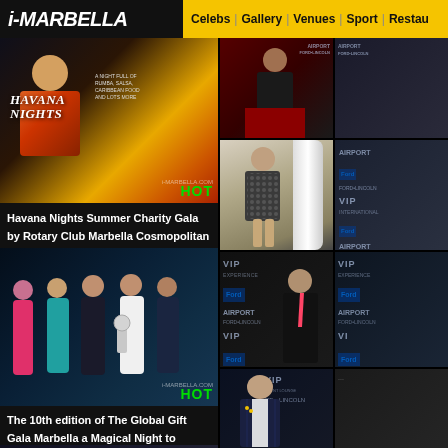i-MARBELLA | Celebs | Gallery | Venues | Sport | Restau...
[Figure (photo): Havana Nights Summer Charity Gala promotional image with HOT badge and i-MARBELLA.COM watermark]
Havana Nights Summer Charity Gala by Rotary Club Marbella Cosmopolitan International
[Figure (photo): The 10th edition of The Global Gift Gala group photo of women with award trophy, HOT badge]
The 10th edition of The Global Gift Gala Marbella a Magical Night to Remember, Gallery 2022
[Figure (photo): Global Gift Gala group photo on red carpet]
[Figure (photo): Celebrity on red carpet in dark outfit]
[Figure (photo): Woman in patterned dress exiting white limousine]
[Figure (photo): Partial view of person on VIP/Ford Airport backdrop]
[Figure (photo): Man in black suit on VIP/Ford/Airport step-and-repeat backdrop]
[Figure (photo): Partial view VIP/Ford/Airport backdrop]
[Figure (photo): Young man in navy pinstripe suit on VIP/Lincoln/Airport backdrop]
[Figure (photo): Partial right-edge photo]